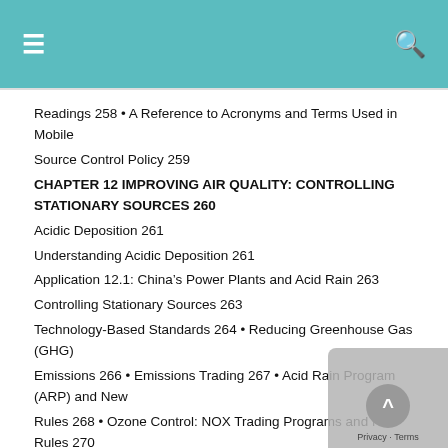≡  [search icon]
Readings 258 • A Reference to Acronyms and Terms Used in Mobile
Source Control Policy 259
CHAPTER 12 IMPROVING AIR QUALITY: CONTROLLING STATIONARY SOURCES 260
Acidic Deposition 261
Understanding Acidic Deposition 261
Application 12.1: China's Power Plants and Acid Rain 263
Controlling Stationary Sources 263
Technology-Based Standards 264 • Reducing Greenhouse Gas (GHG)
Emissions 266 • Emissions Trading 267 • Acid Rain Program (ARP) and New
Rules 268 • Ozone Control: NOX Trading Programs and New Rules 270